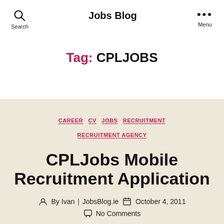Jobs Blog
Tag: CPLJOBS
CAREER  CV  JOBS  RECRUITMENT  RECRUITMENT AGENCY
CPLJobs Mobile Recruitment Application
By Ivan | JobsBlog.ie  October 4, 2011  No Comments